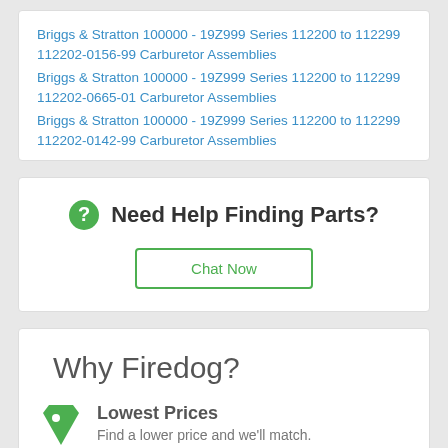Briggs & Stratton 100000 - 19Z999 Series 112200 to 112299 112202-0156-99 Carburetor Assemblies
Briggs & Stratton 100000 - 19Z999 Series 112200 to 112299 112202-0665-01 Carburetor Assemblies
Briggs & Stratton 100000 - 19Z999 Series 112200 to 112299 112202-0142-99 Carburetor Assemblies
Need Help Finding Parts?
Chat Now
Why Firedog?
Lowest Prices
Find a lower price and we'll match.